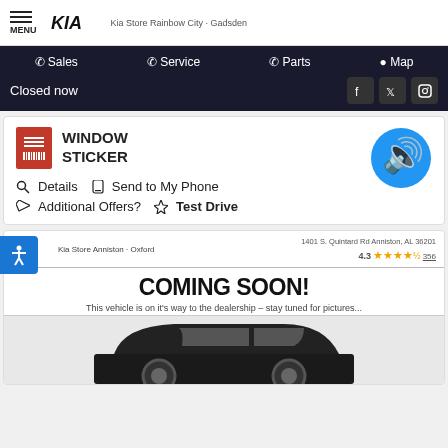MENU | KIA | Kia Store Rainbow City · Gadsden
Sales | Service | Parts | Map
Closed now
WINDOW STICKER
Details | Send to My Phone | Additional Offers? | Test Drive
Kia Store Anniston · Oxford | 1401 S. Quintard Rd Anniston, AL 36201 | 4.3 | 356 | COMING SOON! | This vehicle is on it's way to the dealership – stay tuned for pictures...